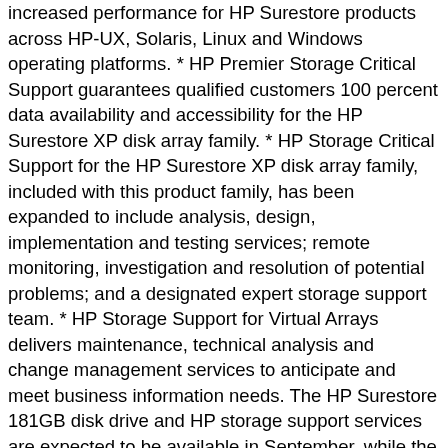increased performance for HP Surestore products across HP-UX, Solaris, Linux and Windows operating platforms. * HP Premier Storage Critical Support guarantees qualified customers 100 percent data availability and accessibility for the HP Surestore XP disk array family. * HP Storage Critical Support for the HP Surestore XP disk array family, included with this product family, has been expanded to include analysis, design, implementation and testing services; remote monitoring, investigation and resolution of potential problems; and a designated expert storage support team. * HP Storage Support for Virtual Arrays delivers maintenance, technical analysis and change management services to anticipate and meet business information needs. The HP Surestore 181GB disk drive and HP storage support services are expected to be available in September, while the HP OpenView Storage Accountant software and HP OpenView Storage